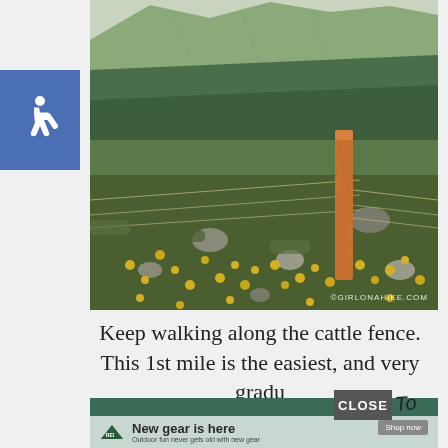[Figure (photo): Accessibility wheelchair icon on blue/purple square background, positioned on the left side of the page]
[Figure (photo): Landscape photo of a mountain meadow filled with yellow wildflowers, rocks, and a wooden fence post with barbed wire in the foreground. Green forested mountain slopes and peaks in the background. Watermark reads GIRLONAHIKE.COM]
Keep walking along the cattle fence. This 1st mile is the easiest, and very gradu
[Figure (other): REI advertisement banner: dark green top bar, light green/teal background, REI logo on left, headline 'New gear is here', subtext 'Outdoor fun never gets old with new gear', Shop now button on right]
CLOSE
to